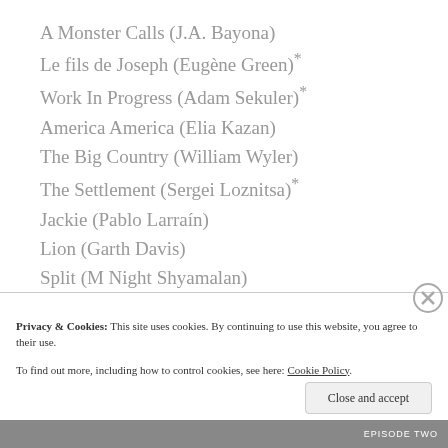A Monster Calls (J.A. Bayona)
Le fils de Joseph (Eugène Green)*
Work In Progress (Adam Sekuler)*
America America (Elia Kazan)
The Big Country (William Wyler)
The Settlement (Sergei Loznitsa)*
Jackie (Pablo Larraín)
Lion (Garth Davis)
Split (M Night Shyamalan)
The Nights of Zayandeh-rood (Mohsen Makhmalbaf)
Eye in the Sky (Gavin Hood)*
10+4 (Mania Akbari)
Privacy & Cookies: This site uses cookies. By continuing to use this website, you agree to their use. To find out more, including how to control cookies, see here: Cookie Policy
Close and accept